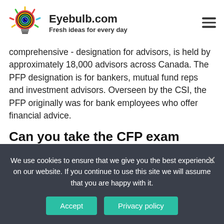Eyebulb.com – Fresh ideas for every day
comprehensive - designation for advisors, is held by approximately 18,000 advisors across Canada. The PFP designation is for bankers, mutual fund reps and investment advisors. Overseen by the CSI, the PFP originally was for bank employees who offer financial advice.
Can you take the CFP exam without experience?
We use cookies to ensure that we give you the best experience on our website. If you continue to use this site we will assume that you are happy with it.